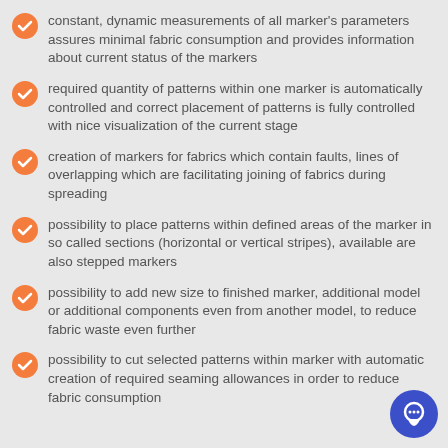constant, dynamic measurements of all marker's parameters assures minimal fabric consumption and provides information about current status of the markers
required quantity of patterns within one marker is automatically controlled and correct placement of patterns is fully controlled with nice visualization of the current stage
creation of markers for fabrics which contain faults, lines of overlapping which are facilitating joining of fabrics during spreading
possibility to place patterns within defined areas of the marker in so called sections (horizontal or vertical stripes), available are also stepped markers
possibility to add new size to finished marker, additional model or additional components even from another model, to reduce fabric waste even further
possibility to cut selected patterns within marker with automatic creation of required seaming allowances in order to reduce fabric consumption